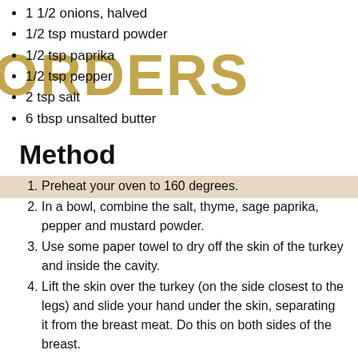1 1/2 onions, halved
1/2 tsp mustard powder
1/2 tsp paprika
1/2 tsp pepper
2 tsp salt
6 tbsp unsalted butter
Method
Preheat your oven to 160 degrees.
In a bowl, combine the salt, thyme, sage paprika, pepper and mustard powder.
Use some paper towel to dry off the skin of the turkey and inside the cavity.
Lift the skin over the turkey (on the side closest to the legs) and slide your hand under the skin, separating it from the breast meat. Do this on both sides of the breast.
Insert three tbsp of butter under the skin on one side of the turkey breast, spreading them around evenly. Repeat on the other side.